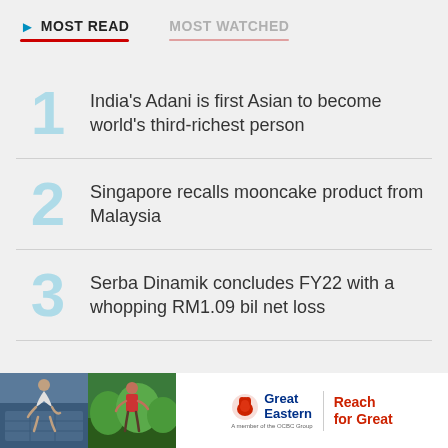MOST READ
MOST WATCHED
India's Adani is first Asian to become world's third-richest person
Singapore recalls mooncake product from Malaysia
Serba Dinamik concludes FY22 with a whopping RM1.09 bil net loss
[Figure (illustration): Advertisement banner for Great Eastern insurance with two photos and 'Reach for Great' tagline]